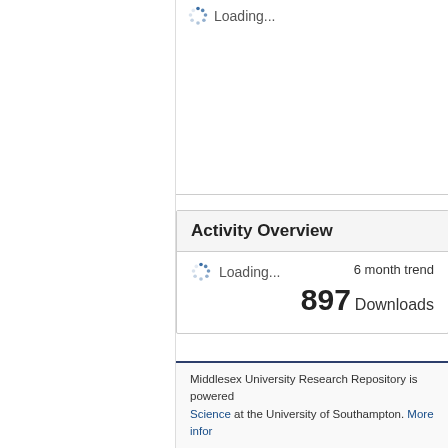[Figure (screenshot): Loading spinner with 'Loading...' text in the top section of a web repository page]
Activity Overview
Loading...   6 month trend
897 Downloads
Additional statistics are available via IRStats2.
Middlesex University Research Repository is powered by EPrints. Web Science at the University of Southampton. More infor...